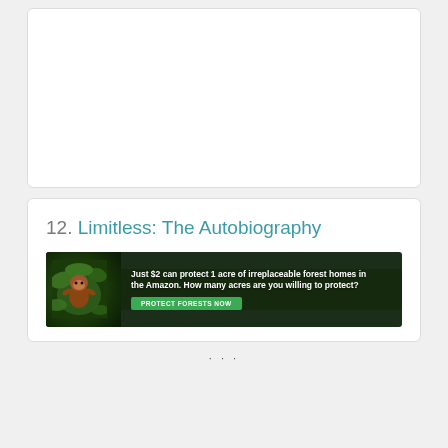[Figure (other): Empty white card box at the top of the page]
12. Limitless: The Autobiography
[Figure (infographic): Advertisement banner for Amazon forest protection. Text: Just $2 can protect 1 acre of irreplaceable forest homes in the Amazon. How many acres are you willing to protect? Button: PROTECT FORESTS NOW. Features an image of an animal (orangutan or sloth) in a lush green forest background.]